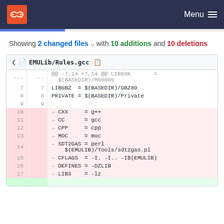Menu
Showing 2 changed files with 10 additions and 10 deletions
| old_ln | new_ln | code |
| --- | --- | --- |
| ... | ... | @@ -7,14 +7,14 @@ LIB68K = $(BASEDIR)/M68000 |
| 7 | 7 | LIBGBZ = $(BASEDIR)/GBZ80 |
| 8 | 8 | PRIVATE = $(BASEDIR)/Private |
| 9 | 9 |  |
| 10 |  | - CXX = g++ |
| 11 |  | - CC = gcc |
| 12 |  | - CPP = cpp |
| 13 |  | - MOC = moc |
| 14 |  | - SDT2GAS = perl $(EMULIB)/Tools/sdt2gas.pl |
| 15 |  | - CFLAGS = -I. -I.. -I$(EMULIB) |
| 16 |  | - DEFINES = -DZLIB |
| 17 |  | - LIBS = -lz |